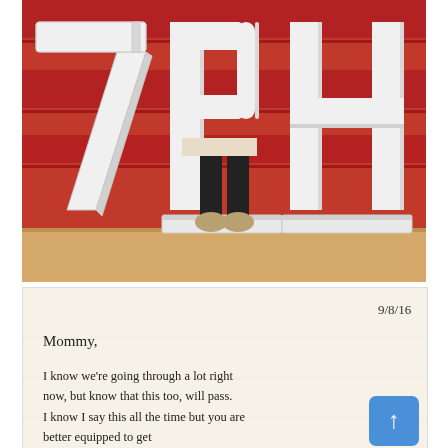[Figure (photo): Photo of large white 3D foam or cardboard letters spelling '7PH' standing on a gym or auditorium floor in front of red bleachers. A person's legs and feet in sandals are visible behind the letters 'P' and 'H'.]
[Figure (photo): Photo of a handwritten letter on cream/white paper. Date '9/8/16' in upper right. Text reads: 'Mommy, I know we're going through a lot right now, but know that this too, will pass. I know I say this all the time but you are [cut off] ... better equipped to get [cut off]']